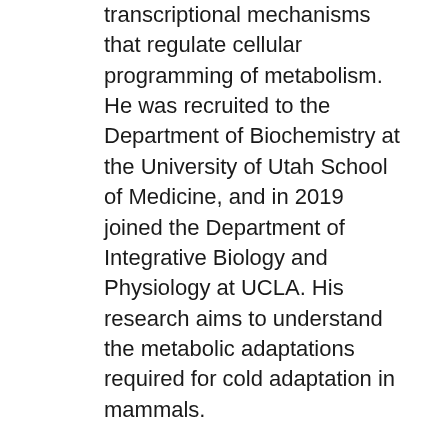transcriptional mechanisms that regulate cellular programming of metabolism. He was recruited to the Department of Biochemistry at the University of Utah School of Medicine, and in 2019 joined the Department of Integrative Biology and Physiology at UCLA. His research aims to understand the metabolic adaptations required for cold adaptation in mammals.
Research Interests
Dr. Villanueva is interested in understanding how cells sense and control metabolism in response to stressors like temperature. The ability to maintain a constant body temperature despite a changing environment can lead to dramatic changes in energy expenditure. This requires an understanding of integrative metabolism and physiology. His lab will...